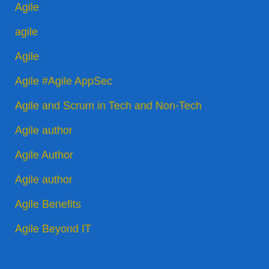Agile
agile
Agile
Agile #Agile AppSec
Agile and Scrum in Tech and Non-Tech
Agile author
Agile Author
Agile author
Agile Benefits
Agile Beyond IT